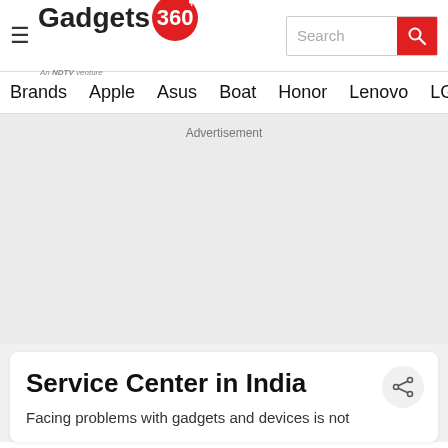[Figure (logo): Gadgets 360 logo - text 'Gadgets' with '360' in red circle, tagline 'An NDTV venture']
Search
Brands  Apple  Asus  Boat  Honor  Lenovo  LG  Mot
Advertisement
Service Center in India
Facing problems with gadgets and devices is not